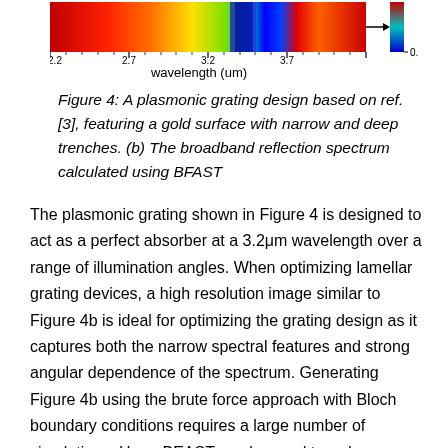[Figure (continuous-plot): A false-color 2D spectrum plot showing broadband reflection spectrum vs wavelength (x-axis: 2.2 to 3.7 um) with a colorbar on the right side ranging from 0.0 (blue) to 1.0 (red). The spectrum shows a dark blue (low reflection) narrow band near 3.2 um wavelength.]
Figure 4: A plasmonic grating design based on ref. [3], featuring a gold surface with narrow and deep trenches. (b) The broadband reflection spectrum calculated using BFAST
The plasmonic grating shown in Figure 4 is designed to act as a perfect absorber at a 3.2μm wavelength over a range of illumination angles. When optimizing lamellar grating devices, a high resolution image similar to Figure 4b is ideal for optimizing the grating design as it captures both the narrow spectral features and strong angular dependence of the spectrum. Generating Figure 4b using the brute force approach with Bloch boundary conditions requires a large number of simulations. Here, BEAST can be used to reduce